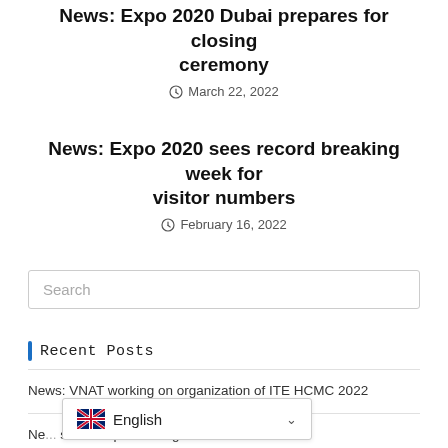News: Expo 2020 Dubai prepares for closing ceremony
March 22, 2022
News: Expo 2020 sees record breaking week for visitor numbers
February 16, 2022
Search
Recent Posts
News: VNAT working on organization of ITE HCMC 2022
Ne... position as preferred global hub for sp...
English